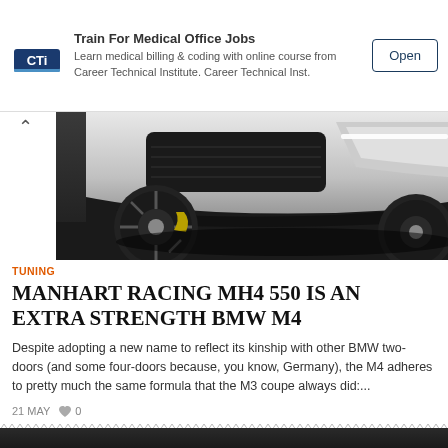[Figure (screenshot): Advertisement banner for Career Technical Institute showing CTI logo, text about training for medical office jobs, and an Open button]
[Figure (photo): Close-up photo of a white BMW M4 showing front lower bumper, splitter, and wheel on dark background]
TUNING
MANHART RACING MH4 550 IS AN EXTRA STRENGTH BMW M4
Despite adopting a new name to reflect its kinship with other BMW two-doors (and some four-doors because, you know, Germany), the M4 adheres to pretty much the same formula that the M3 coupe always did:...
21 MAY   ♥ 0
[Figure (photo): Partial view of next article image, dark colored car photo]